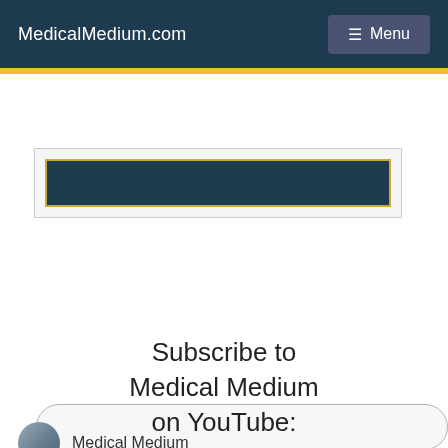MedicalMedium.com
[Figure (screenshot): Navigation bar with MedicalMedium.com logo and hamburger Menu button on dark navy background]
[Figure (screenshot): Book cover thumbnail with dark navy background and gold border inside a light gray container]
[Figure (screenshot): Search input field with rounded corners]
[Figure (screenshot): Yellow Search button with magnifying glass icon]
Subscribe to Medical Medium on YouTube:
Medical Medium